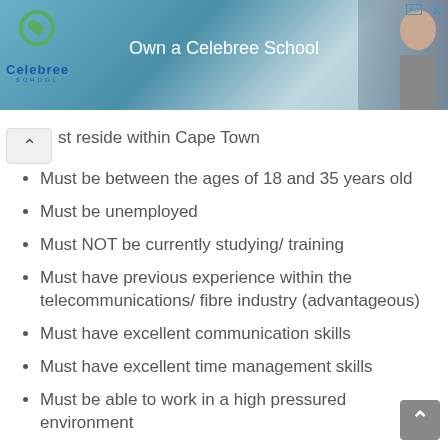[Figure (other): Celebree School banner advertisement with logo, tagline 'Own a Celebree School', and a smiling person on the right]
...st reside within Cape Town
Must be between the ages of 18 and 35 years old
Must be unemployed
Must NOT be currently studying/ training
Must have previous experience within the telecommunications/ fibre industry (advantageous)
Must have excellent communication skills
Must have excellent time management skills
Must be able to work in a high pressured environment
Must be hardworking
Must be self-motivated
Must be able to work well independently and within a team
Must be flexible
Candidates with disabilities are encouraged to apply